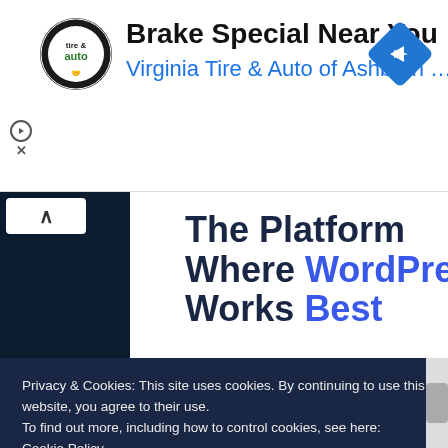[Figure (screenshot): Advertisement banner for Virginia Tire & Auto of Ashburn showing a circular logo with 'tire & auto' text, the headline 'Brake Special Near You', subtitle 'Virginia Tire & Auto of Ashburn ...', a blue diamond navigation icon, and ad controls (play/skip triangle and X button).]
[Figure (screenshot): WordPress hosting advertisement on dark navy background with white panel containing bold text 'The Platform Where WordPress Works Best' with 'WordPress' and 'Best' in blue, and a blue 'SEE PRICING' button.]
Privacy & Cookies: This site uses cookies. By continuing to use this website, you agree to their use.
To find out more, including how to control cookies, see here: Cookie Policy
Close and accept